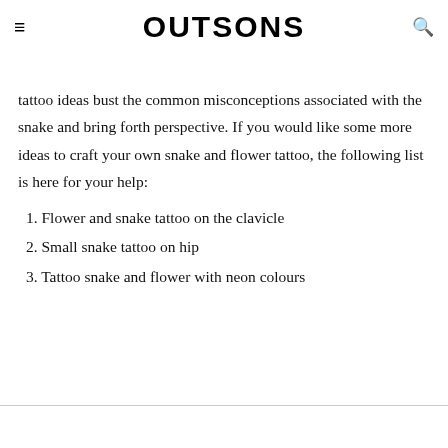OUTSONS
tattoo ideas bust the common misconceptions associated with the snake and bring forth perspective. If you would like some more ideas to craft your own snake and flower tattoo, the following list is here for your help:
1. Flower and snake tattoo on the clavicle
2. Small snake tattoo on hip
3. Tattoo snake and flower with neon colours